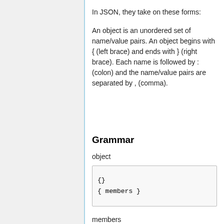In JSON, they take on these forms:
An object is an unordered set of name/value pairs. An object begins with { (left brace) and ends with } (right brace). Each name is followed by : (colon) and the name/value pairs are separated by , (comma).
Grammar
object
{}
{ members }
members
...